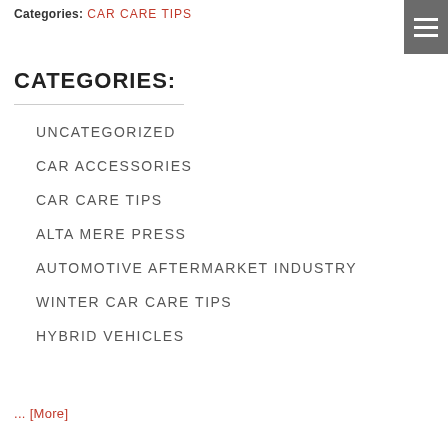Categories: CAR CARE TIPS
CATEGORIES:
UNCATEGORIZED
CAR ACCESSORIES
CAR CARE TIPS
ALTA MERE PRESS
AUTOMOTIVE AFTERMARKET INDUSTRY
WINTER CAR CARE TIPS
HYBRID VEHICLES
... [More]